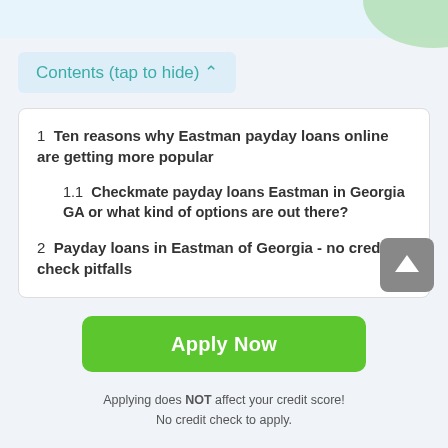Contents (tap to hide) ^
1  Ten reasons why Eastman payday loans online are getting more popular
1.1  Checkmate payday loans Eastman in Georgia GA or what kind of options are out there?
2  Payday loans in Eastman of Georgia - no credit check pitfalls
Apply Now
Applying does NOT affect your credit score!
No credit check to apply.